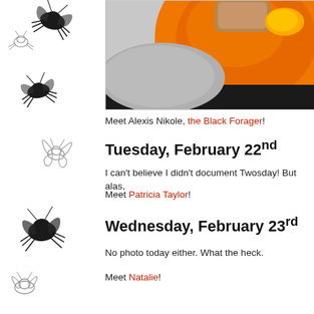[Figure (photo): Photo of an orange plate with food items on a grey cloth/towel background, partially visible from top.]
Meet Alexis Nikole, the Black Forager!
Tuesday, February 22nd
I can't believe I didn't document Twosday! But alas,
Meet Patricia Taylor!
Wednesday, February 23rd
No photo today either. What the heck.
Meet Natalie!